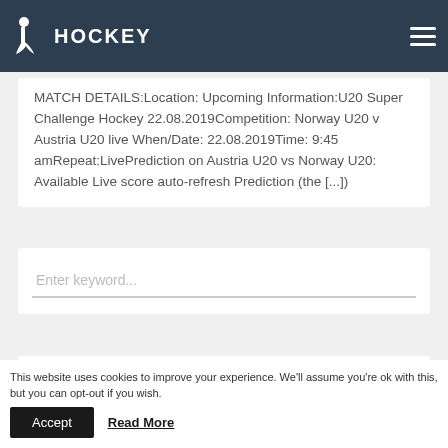HOCKEY
MATCH DETAILS:Location: Upcoming Information:U20 Super Challenge Hockey 22.08.2019Competition: Norway U20 v Austria U20 live When/Date: 22.08.2019Time: 9:45 amRepeat:LivePrediction on Austria U20 vs Norway U20: Available Live score auto-refresh Prediction (the [...])
Enter keyword...
This website uses cookies to improve your experience. We'll assume you're ok with this, but you can opt-out if you wish.
Accept
Read More